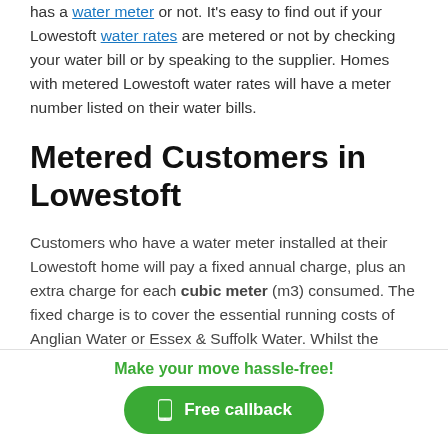has a water meter or not. It's easy to find out if your Lowestoft water rates are metered or not by checking your water bill or by speaking to the supplier. Homes with metered Lowestoft water rates will have a meter number listed on their water bills.
Metered Customers in Lowestoft
Customers who have a water meter installed at their Lowestoft home will pay a fixed annual charge, plus an extra charge for each cubic meter (m3) consumed. The fixed charge is to cover the essential running costs of Anglian Water or Essex & Suffolk Water. Whilst the variable charges are for the consumption at your Lowestoft
Make your move hassle-free!
Free callback